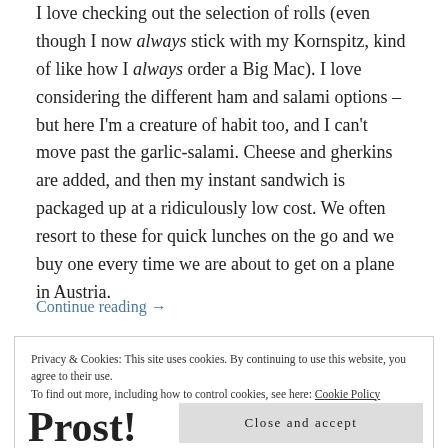I love checking out the selection of rolls (even though I now always stick with my Kornspitz, kind of like how I always order a Big Mac). I love considering the different ham and salami options – but here I'm a creature of habit too, and I can't move past the garlic-salami. Cheese and gherkins are added, and then my instant sandwich is packaged up at a ridiculously low cost. We often resort to these for quick lunches on the go and we buy one every time we are about to get on a plane in Austria.
Continue reading →
Privacy & Cookies: This site uses cookies. By continuing to use this website, you agree to their use.
To find out more, including how to control cookies, see here: Cookie Policy
Close and accept
Prost!